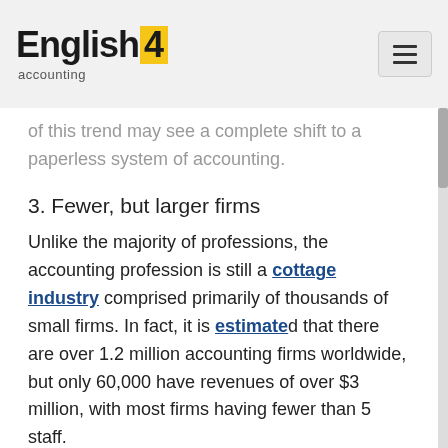English4accounting
of this trend may see a complete shift to a paperless system of accounting.
3. Fewer, but larger firms
Unlike the majority of professions, the accounting profession is still a cottage industry comprised primarily of thousands of small firms. In fact, it is estimated that there are over 1.2 million accounting firms worldwide, but only 60,000 have revenues of over $3 million, with most firms having fewer than 5 staff.
Most small accounting firms are currently made up of 2 partners and a handful of staff, who are only capable